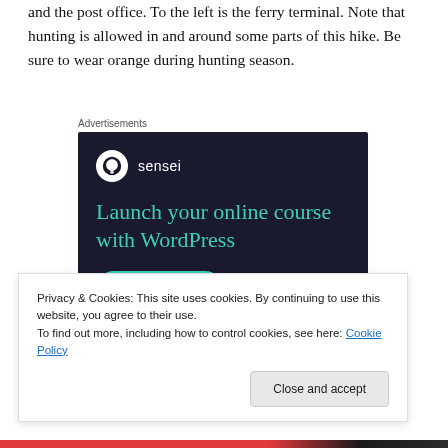and the post office. To the left is the ferry terminal. Note that hunting is allowed in and around some parts of this hike. Be sure to wear orange during hunting season.
Advertisements
[Figure (other): Sensei advertisement: dark navy background with Sensei logo (tree icon in white circle), teal headline 'Launch your online course with WordPress', and teal 'Learn More' button.]
Privacy & Cookies: This site uses cookies. By continuing to use this website, you agree to their use.
To find out more, including how to control cookies, see here: Cookie Policy
Close and accept